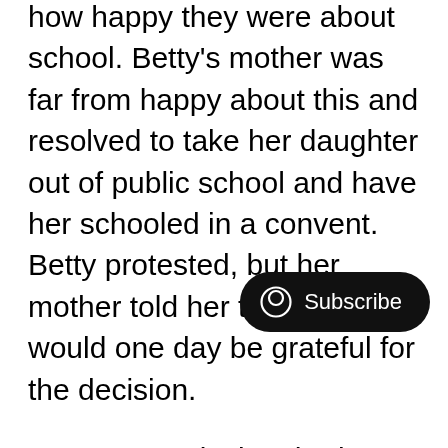how happy they were about school. Betty's mother was far from happy about this and resolved to take her daughter out of public school and have her schooled in a convent. Betty protested, but her mother told her that she would one day be grateful for the decision.
Her new curriculum had no political indoctrination and, though there were no sports and there was hardly any fun, Betty did her best to comply with her mother's wishes.
At home for the holidays, Betty would ask her friends what went on in school. The looseness of their new lifestyle repelled her and she was alarmed to hear that unwed mothers were commended for having “babies for Hitler.” Betty could see why her mother wanted her out of